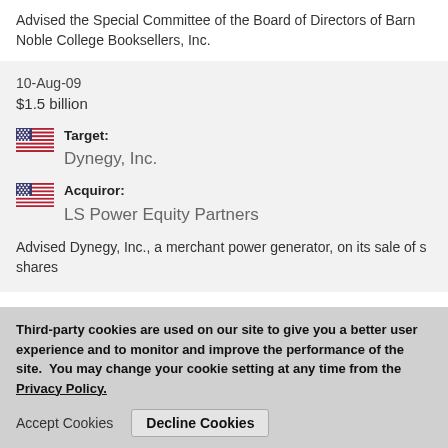Advised the Special Committee of the Board of Directors of Barnes & Noble College Booksellers, Inc.
10-Aug-09
$1.5 billion
Target: Dynegy, Inc.
Acquiror: LS Power Equity Partners
Advised Dynegy, Inc., a merchant power generator, on its sale of shares
23-Apr-08
Third-party cookies are used on our site to give you a better user experience and to monitor and improve the performance of the site.  You may change your cookie setting at any time from the Privacy Policy.